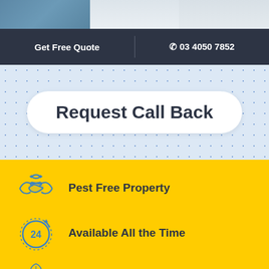[Figure (photo): Partial photo strip at top of page showing a person in blue clothing]
Get Free Quote   |   ☎ 03 4050 7852
Request Call Back
Pest Free Property
Available All the Time